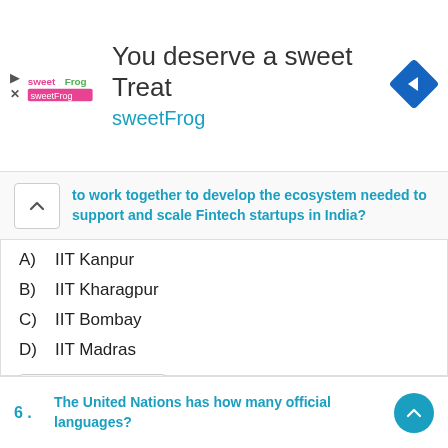[Figure (logo): sweetFrog ad banner with logo, tagline 'You deserve a sweet Treat' and 'sweetFrog', with a blue navigation icon]
to work together to develop the ecosystem needed to support and scale Fintech startups in India?
A)   IIT Kanpur
B)   IIT Kharagpur
C)   IIT Bombay
D)   IIT Madras
Show Answer
Published On : March 19, 2022
6 .   The United Nations has how many official languages?